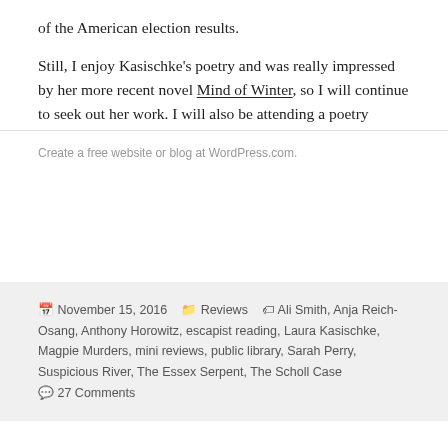of the American election results.
Still, I enjoy Kasischke's poetry and was really impressed by her more recent novel Mind of Winter, so I will continue to seek out her work. I will also be attending a poetry masterclass with her this coming weekend, so wish me luck!
November 15, 2016   Reviews   Ali Smith, Anja Reich-Osang, Anthony Horowitz, escapist reading, Laura Kasischke, Magpie Murders, mini reviews, public library, Sarah Perry, Suspicious River, The Essex Serpent, The Scholl Case   27 Comments
Create a free website or blog at WordPress.com.